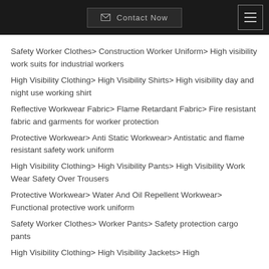Contact Now  [menu]
Safety Worker Clothes> Construction Worker Uniform> High visibility work suits for industrial workers
High Visibility Clothing> High Visibility Shirts> High visibility day and night use working shirt
Reflective Workwear Fabric> Flame Retardant Fabric> Fire resistant fabric and garments for worker protection
Protective Workwear> Anti Static Workwear> Antistatic and flame resistant safety work uniform
High Visibility Clothing> High Visibility Pants> High Visibility Work Wear Safety Over Trousers
Protective Workwear> Water And Oil Repellent Workwear> Functional protective work uniform
Safety Worker Clothes> Worker Pants> Safety protection cargo pants
High Visibility Clothing> High Visibility Jackets> High…